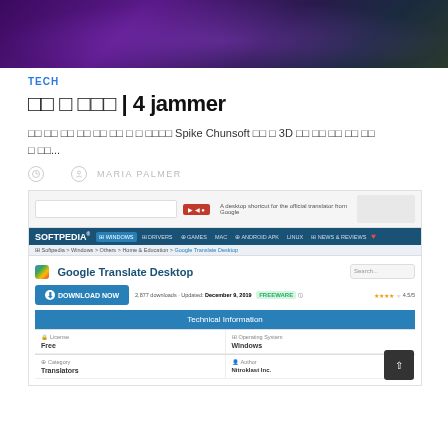[Figure (photo): Hero banner image with purple/green fantasy game artwork background]
TECH
□□ □ □□□ | 4 jammer
□□ □□ □□ □□ □□ □□ □ □ □□□□ Spike Chunsoft □□ □ 3D □□ □□ □□ □□ □□ □ □□...
MARIA PALMER
[Figure (screenshot): Screenshot of Softpedia website showing Google Translate Desktop download page with Technical Information section showing License: Free, Operating System: Windows, Category: Translators, Author: Nitrolast Inc.]